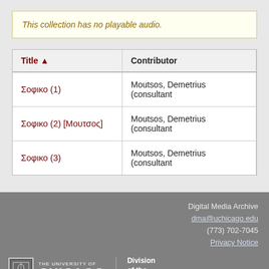This collection has no playable audio.
| Title ▲ | Contributor |
| --- | --- |
| Σοφικο (1) | Moutsos, Demetrius (consultant |
| Σοφικο (2) [Μουτσος] | Moutsos, Demetrius (consultant |
| Σοφικο (3) | Moutsos, Demetrius (consultant |
Digital Media Archive
dma@uchicago.edu
(773) 702-7045
Privacy Notice
THE UNIVERSITY OF CHICAGO | Division of the Humanities